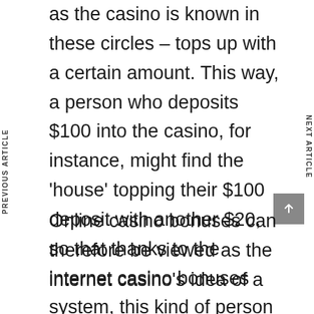as the casino is known in these circles – tops up with a certain amount. This way, a person who deposits $100 into the casino, for instance, might find the 'house' topping their $100 deposit with another $20, so that thanks to the internet casino bonuses system, this kind of person gets to play around they'd have played had they deposited $120 into the casino, for playing purposes.
Online casino bonuses can therefore be viewed as the internet casino's idea of a